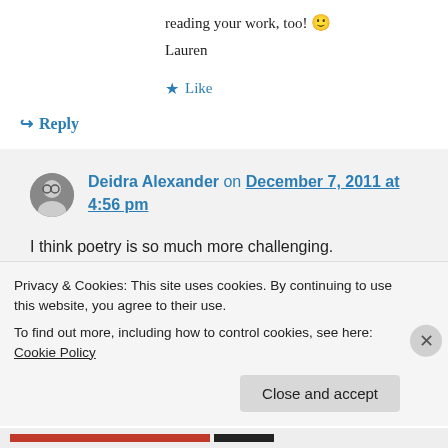reading your work, too! 🙂
Lauren
★ Like
↪ Reply
Deidra Alexander on December 7, 2011 at 4:56 pm
I think poetry is so much more challenging.
Looking forward to my next visit
Privacy & Cookies: This site uses cookies. By continuing to use this website, you agree to their use.
To find out more, including how to control cookies, see here: Cookie Policy
Close and accept